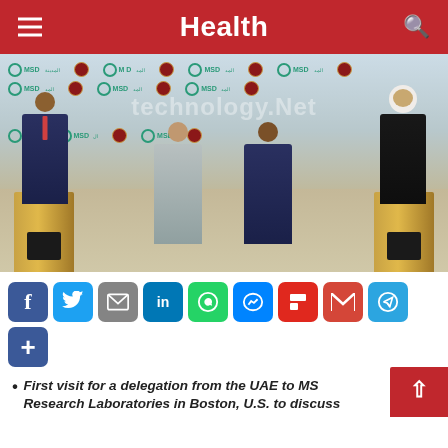Health
[Figure (photo): Four people standing at a press conference in front of an MSD and UAE government branded backdrop. Two people stand at wooden podiums on the left and right sides; two people stand in the center. A watermark reading 'technology.net' is overlaid on the image.]
[Figure (infographic): Social media share buttons row: Facebook, Twitter, Email, LinkedIn, WhatsApp, Messenger, Flipboard, Gmail, Telegram, and a share/plus button.]
First visit for a delegation from the UAE to MSD Research Laboratories in Boston, U.S. to discuss